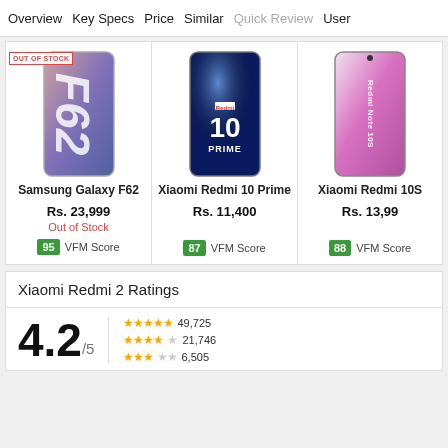Overview   Key Specs   Price   Similar   Quick Review   User
OUT OF STOCK
[Figure (photo): Samsung Galaxy F62 smartphone product image]
Samsung Galaxy F62
Rs. 23,999
Out of Stock
95 VFM Score
[Figure (photo): Xiaomi Redmi 10 Prime smartphone product image]
Xiaomi Redmi 10 Prime
Rs. 11,400
87 VFM Score
[Figure (photo): Xiaomi Redmi Note 10S smartphone product image]
Xiaomi Redmi 10S
Rs. 13,99
88 VFM Score
Xiaomi Redmi 2 Ratings
4.2/5
★★★★★ 49,725
★★★★☆ 21,746
★★★☆☆ 6,505